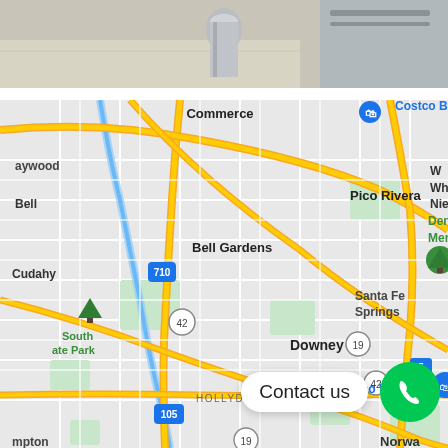[Figure (photo): Photo of a floor/appliance area, partially visible at the top of the page]
[Figure (map): Google Maps screenshot showing area around Downey, Bell Gardens, South Gate, Hollydale in Los Angeles County, CA. Shows Costco Business Center, Dennis the Menace Park, Costco Wholesale, Santa Fe Springs, Pico Rivera, and nearby freeways 710, 5, 105, 19, 42. Contact us button visible at bottom right.]